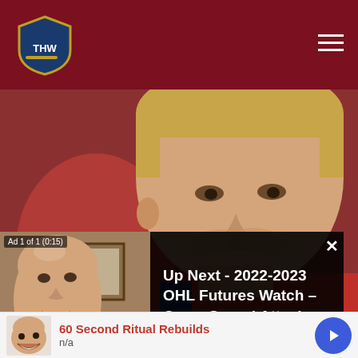THW (The Hockey Writers) - navigation header
[Figure (photo): Close-up photo of a young male hockey player wearing a red and blue jersey, looking slightly to the side. Background is blurred red.]
[Figure (screenshot): Video player overlay showing an ad (Ad 1 of 1, 0:15) with a thumbnail of a bald man speaking, and text 'Up Next - 2022-2023 OHL Futures Watch – Owen Sound Attack']
and second best on the team in defensive goals above
[Figure (screenshot): Advertisement bar showing '60 Second Ritual Rebuilds' with n/a subtitle and a blue play button]